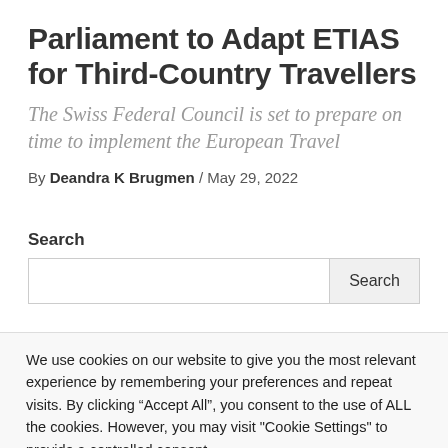Parliament to Adapt ETIAS for Third-Country Travellers
The Swiss Federal Council is set to prepare on time to implement the European Travel
By Deandra K Brugmen / May 29, 2022
Search
We use cookies on our website to give you the most relevant experience by remembering your preferences and repeat visits. By clicking “Accept All”, you consent to the use of ALL the cookies. However, you may visit "Cookie Settings" to provide a controlled consent.